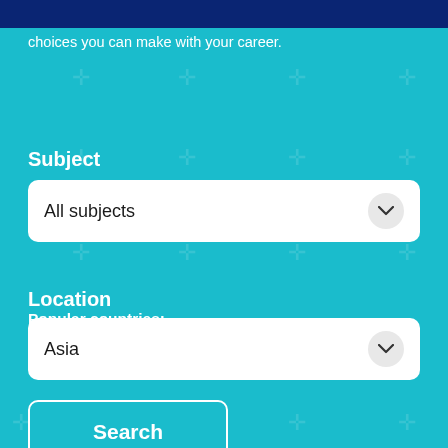choices you can make with your career.
Subject
All subjects
Location
Asia
Search
Popular countries:
Malaysia
Brunei
India